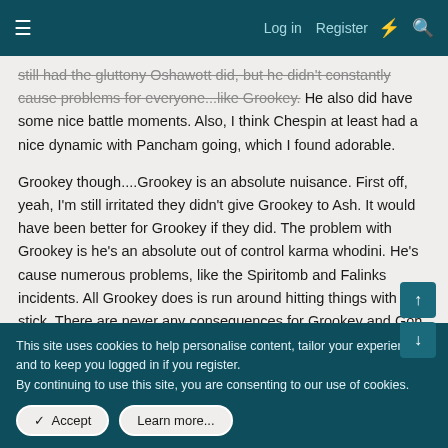Log in  Register
still had the gluttony Oshawott did, but he didn't constantly cause problems for everyone...like Grookey. He also did have some nice battle moments. Also, I think Chespin at least had a nice dynamic with Pancham going, which I found adorable.
Grookey though....Grookey is an absolute nuisance. First off, yeah, I'm still irritated they didn't give Grookey to Ash. It would have been better for Grookey if they did. The problem with Grookey is he's an absolute out of control karma whodini. He's cause numerous problems, like the Spiritomb and Falinks incidents. All Grookey does is run around hitting things with a stick. There are never any consequences for Grookey and Goh even seems to act like he's this perfect child that can do no wrong. He even blamed Ash once for something Grookey caused. Grookey is one of the worst Pokemon I've ever seen
This site uses cookies to help personalise content, tailor your experience and to keep you logged in if you register.
By continuing to use this site, you are consenting to our use of cookies.
✓  Accept
Learn more...